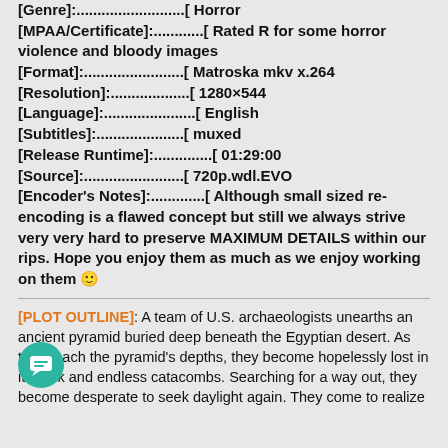[Genre]:..........................[ Horror
[MPAA/Certificate]:............[ Rated R for some horror violence and bloody images
[Format]:........................[ Matroska mkv x.264
[Resolution]:....................[ 1280×544
[Language]:......................[ English
[Subtitles]:.....................[ muxed
[Release Runtime]:...............[ 01:29:00
[Source]:........................[ 720p.wdl.EVO
[Encoder's Notes]:..............[ Although small sized re-encoding is a flawed concept but still we always strive very very hard to preserve MAXIMUM DETAILS within our rips. Hope you enjoy them as much as we enjoy working on them 🙂
[PLOT OUTLINE]: A team of U.S. archaeologists unearths an ancient pyramid buried deep beneath the Egyptian desert. As they reach the pyramid's depths, they become hopelessly lost in its dark and endless catacombs. Searching for a way out, they become desperate to seek daylight again. They come to realize